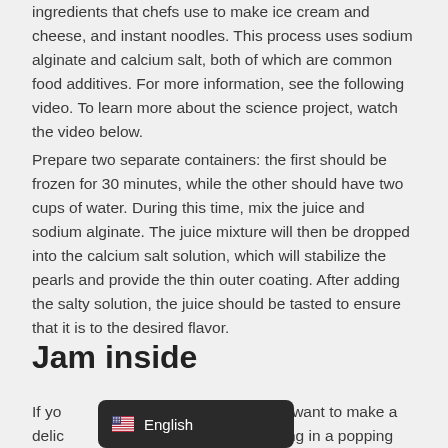ingredients that chefs use to make ice cream and cheese, and instant noodles. This process uses sodium alginate and calcium salt, both of which are common food additives. For more information, see the following video. To learn more about the science project, watch the video below.
Prepare two separate containers: the first should be frozen for 30 minutes, while the other should have two cups of water. During this time, mix the juice and sodium alginate. The juice mixture will then be dropped into the calcium salt solution, which will stabilize the pearls and provide the thin outer coating. After adding the salty solution, the juice should be tasted to ensure that it is to the desired flavor.
Jam inside
If yo[English overlay]ating ice-cream and want to make a delic[English overlay]home, consider investing in a popping